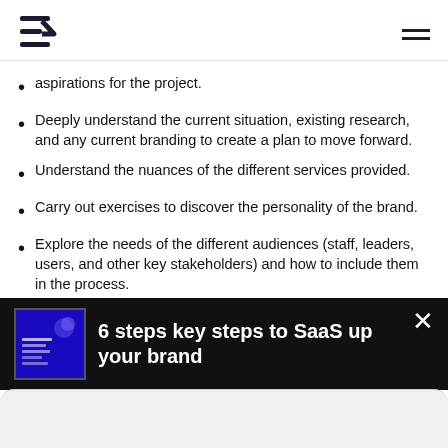Logo and navigation
aspirations for the project.
Deeply understand the current situation, existing research, and any current branding to create a plan to move forward.
Understand the nuances of the different services provided.
Carry out exercises to discover the personality of the brand.
Explore the needs of the different audiences (staff, leaders, users, and other key stakeholders) and how to include them in the process.
Speak with a range of stakeholders to get additional insight.
6 steps key steps to SaaS up your brand